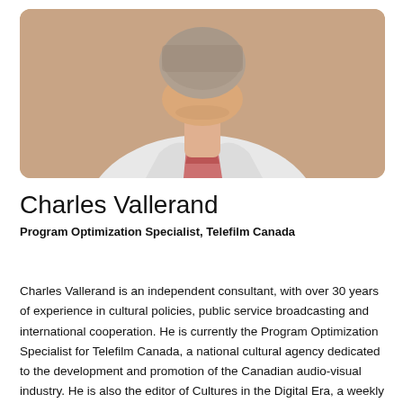[Figure (photo): Headshot photo of Charles Vallerand, a man wearing a white shirt with a pinkish-red scarf/tie around his neck, cropped at chin level, warm beige/tan background]
Charles Vallerand
Program Optimization Specialist, Telefilm Canada
Charles Vallerand is an independent consultant, with over 30 years of experience in cultural policies, public service broadcasting and international cooperation. He is currently the Program Optimization Specialist for Telefilm Canada, a national cultural agency dedicated to the development and promotion of the Canadian audio-visual industry. He is also the editor of Cultures in the Digital Era, a weekly press